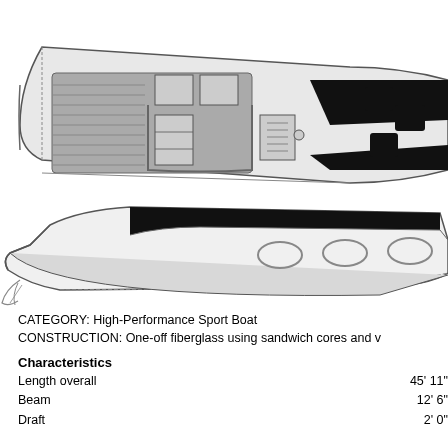[Figure (engineering-diagram): Top-down (plan) view and side profile view of a high-performance sport boat. Top view shows deck layout with seating, console, and black V-shaped accent stripe. Side view shows the hull profile with black stripe along the cabin and three oval portlights.]
CATEGORY: High-Performance Sport Boat
CONSTRUCTION: One-off fiberglass using sandwich cores and v
Characteristics
Length overall    45' 11"
Beam    12' 6"
Draft    2' 0"